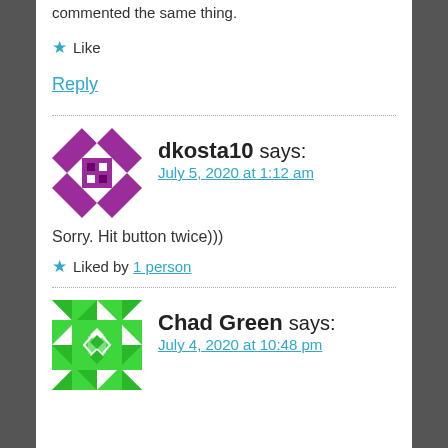commented the same thing.
★ Like
Reply
[Figure (illustration): Avatar for dkosta10 — purple and white geometric quilt pattern square]
dkosta10 says:
July 5, 2020 at 1:12 am
Sorry. Hit button twice)))
★ Liked by 1 person
[Figure (illustration): Avatar for Chad Green — bright green and white geometric pattern square]
Chad Green says:
July 4, 2020 at 10:48 pm